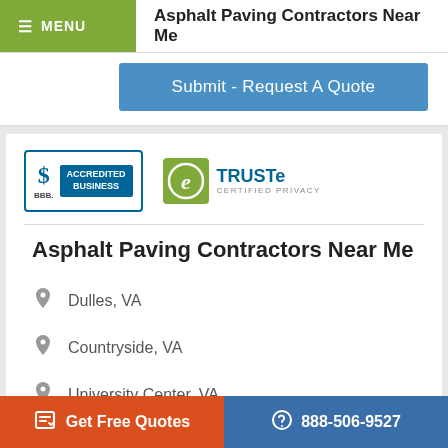MENU  Asphalt Paving Contractors Near Me
Submit - Request A Quote
[Figure (logo): BBB Accredited Business badge and TRUSTe Certified Privacy badge]
Asphalt Paving Contractors Near Me
Dulles, VA
Countryside, VA
University Center, VA
Arcola, VA
Get Free Quotes   888-506-9527